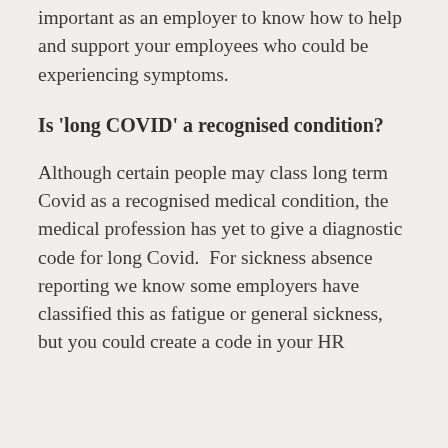important as an employer to know how to help and support your employees who could be experiencing symptoms.
Is 'long COVID' a recognised condition?
Although certain people may class long term Covid as a recognised medical condition, the medical profession has yet to give a diagnostic code for long Covid.  For sickness absence reporting we know some employers have classified this as fatigue or general sickness, but you could create a code in your HR